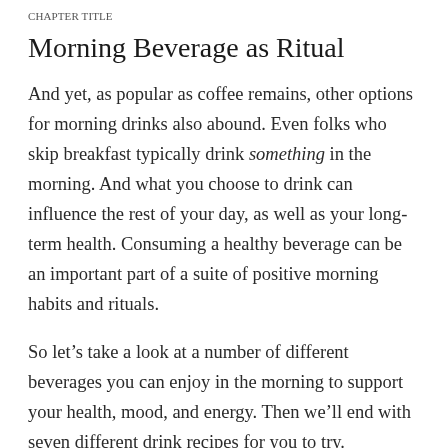CHAPTER TITLE
Morning Beverage as Ritual
And yet, as popular as coffee remains, other options for morning drinks also abound. Even folks who skip breakfast typically drink something in the morning. And what you choose to drink can influence the rest of your day, as well as your long-term health. Consuming a healthy beverage can be an important part of a suite of positive morning habits and rituals.
So let’s take a look at a number of different beverages you can enjoy in the morning to support your health, mood, and energy. Then we’ll end with seven different drink recipes for you to try.